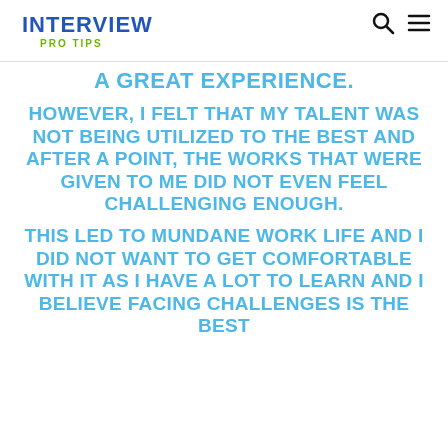INTERVIEW
PRO TIPS
A GREAT EXPERIENCE.
HOWEVER, I FELT THAT MY TALENT WAS NOT BEING UTILIZED TO THE BEST AND AFTER A POINT, THE WORKS THAT WERE GIVEN TO ME DID NOT EVEN FEEL CHALLENGING ENOUGH.
THIS LED TO MUNDANE WORK LIFE AND I DID NOT WANT TO GET COMFORTABLE WITH IT AS I HAVE A LOT TO LEARN AND I BELIEVE FACING CHALLENGES IS THE BEST